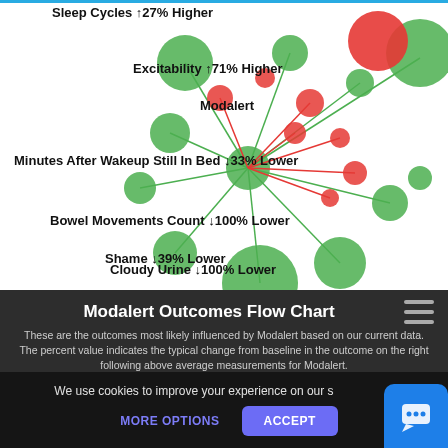[Figure (network-graph): Bubble/network chart showing Modalert outcomes with green and red circles connected by lines to a central node. Labels show various health metrics with percentage changes.]
Sleep Cycles ↑27% Higher
Excitability ↑71% Higher
Modalert
Minutes After Wakeup Still In Bed ↓33% Lower
Bowel Movements Count ↓100% Lower
Shame ↓39% Lower
Cloudy Urine ↓100% Lower
Modalert Outcomes Flow Chart
These are the outcomes most likely influenced by Modalert based on our current data. The percent value indicates the typical change from baseline in the outcome on the right following above average measurements for Modalert.
We use cookies to improve your experience on our s
MORE OPTIONS
ACCEPT